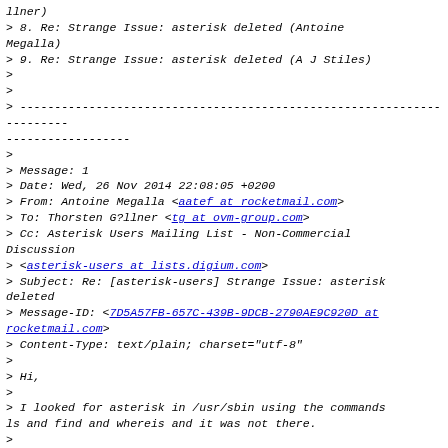llner)
>    8. Re: Strange Issue: asterisk deleted (Antoine Megalla)
>    9. Re: Strange Issue: asterisk deleted (A J Stiles)
>
>
> ----------------------------------------------------------------------
>
> Message: 1
> Date: Wed, 26 Nov 2014 22:08:05 +0200
> From: Antoine Megalla <aatef at rocketmail.com>
> To: Thorsten G?llner <tg at ovm-group.com>
> Cc: Asterisk Users Mailing List - Non-Commercial Discussion
>      <asterisk-users at lists.digium.com>
> Subject: Re: [asterisk-users] Strange Issue: asterisk deleted
> Message-ID: <7D5A57FB-657C-439B-9DCB-2790AE9C920D at rocketmail.com>
> Content-Type: text/plain; charset="utf-8"
>
> Hi,
>
> I looked for asterisk in /usr/sbin using the commands ls and find and whereis and it was not there.
>
> I know that the process is killed because when I start asterisk using the command asterisk -vvvvc it starts and then it exits and the word killed is wrote